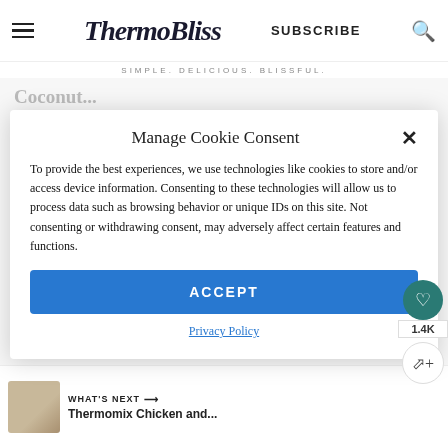ThermoBliss — SIMPLE. DELICIOUS. BLISSFUL.
Manage Cookie Consent
To provide the best experiences, we use technologies like cookies to store and/or access device information. Consenting to these technologies will allow us to process data such as browsing behavior or unique IDs on this site. Not consenting or withdrawing consent, may adversely affect certain features and functions.
ACCEPT
Privacy Policy
coconut cream.
Reply
1.4K
WHAT'S NEXT → Thermomix Chicken and...